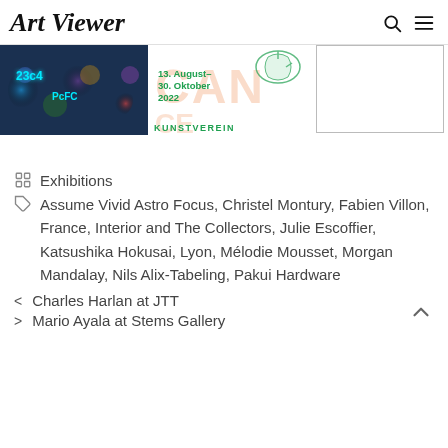Art Viewer
[Figure (photo): Dark circular artwork with blue neon numbers 23c4 and PcFC text on mixed media circles]
[Figure (illustration): Kunstverein exhibition poster: 13. August–30. Oktober 2022 with orange/green graphic overlay]
[Figure (other): White/blank image with grey border]
Exhibitions
Assume Vivid Astro Focus, Christel Montury, Fabien Villon, France, Interior and The Collectors, Julie Escoffier, Katsushika Hokusai, Lyon, Mélodie Mousset, Morgan Mandalay, Nils Alix-Tabeling, Pakui Hardware
< Charles Harlan at JTT
> Mario Ayala at Stems Gallery